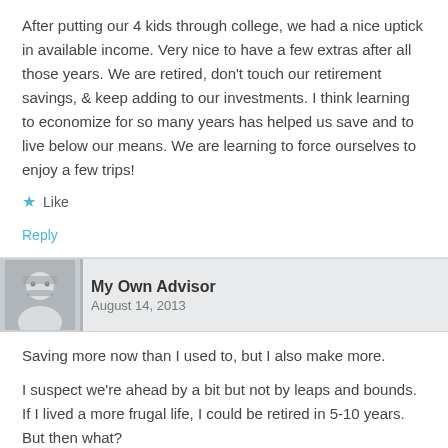After putting our 4 kids through college, we had a nice uptick in available income. Very nice to have a few extras after all those years. We are retired, don't touch our retirement savings, & keep adding to our investments. I think learning to economize for so many years has helped us save and to live below our means. We are learning to force ourselves to enjoy a few trips!
★ Like
Reply
My Own Advisor
August 14, 2013
Saving more now than I used to, but I also make more.
I suspect we're ahead by a bit but not by leaps and bounds. If I lived a more frugal life, I could be retired in 5-10 years. But then what?
★ Like
Reply